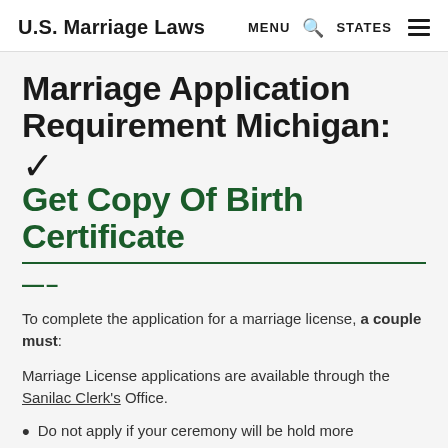U.S. Marriage Laws  MENU  🔍  STATES  ☰
Marriage Application Requirement Michigan: ✓ Get Copy Of Birth Certificate
To complete the application for a marriage license, a couple must:
Marriage License applications are available through the Sanilac Clerk's Office.
Do not apply if your ceremony will be hold more